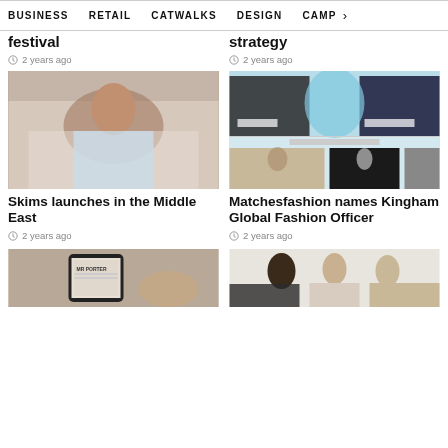BUSINESS  RETAIL  CATWALKS  DESIGN  CAMP  >
festival
2 years ago
strategy
2 years ago
[Figure (photo): Model lying on bed in light blue outfit]
Skims launches in the Middle East
2 years ago
[Figure (screenshot): Matchesfashion website screenshot showing men and women shop sections with category images]
Matchesfashion names Kingham Global Fashion Officer
2 years ago
[Figure (photo): MR PORTER app on phone screen]
[Figure (photo): Group of models in a fashion shoot]